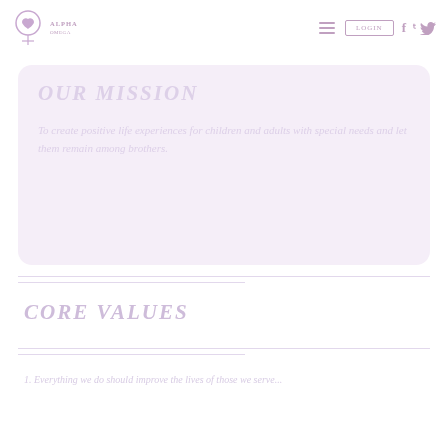Navigation bar with logo, LOGIN button, Facebook and Twitter icons
Our Mission
To create positive life experiences for children and adults with special needs and let them remain among brothers.
Core Values
1. Everything we do should improve the lives of...